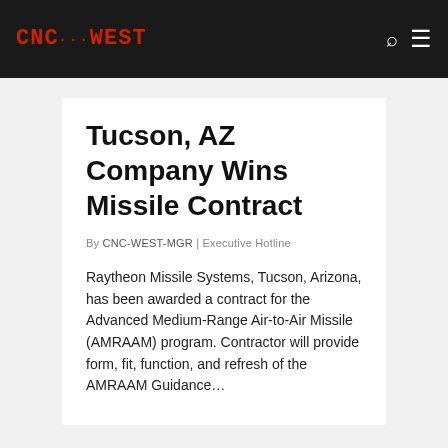CNC-WEST
Tucson, AZ Company Wins Missile Contract
By CNC-WEST-MGR | Executive Hotline
Raytheon Missile Systems, Tucson, Arizona, has been awarded a contract for the Advanced Medium-Range Air-to-Air Missile (AMRAAM) program. Contractor will provide form, fit, function, and refresh of the AMRAAM Guidance…